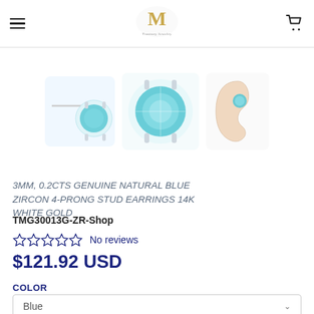Menu | [M Logo - Trustory Jewelry] | Cart
[Figure (photo): Three product images of blue zircon stud earrings: one showing the pin/back, one close-up of the blue stone in 4-prong white gold setting, and one lifestyle photo on ear]
3MM, 0.2CTS GENUINE NATURAL BLUE ZIRCON 4-PRONG STUD EARRINGS 14K WHITE GOLD
TMG30013G-ZR-Shop
☆☆☆☆☆ No reviews
$121.92 USD
COLOR
Blue